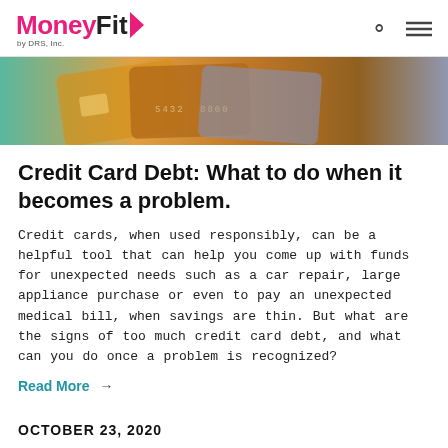MoneyFit by DRS, Inc.
[Figure (photo): Close-up photo of credit cards fanned out, showing colorful card surfaces with numbers and chip visible.]
Credit Card Debt: What to do when it becomes a problem.
Credit cards, when used responsibly, can be a helpful tool that can help you come up with funds for unexpected needs such as a car repair, large appliance purchase or even to pay an unexpected medical bill, when savings are thin. But what are the signs of too much credit card debt, and what can you do once a problem is recognized?
Read More →
OCTOBER 23, 2020